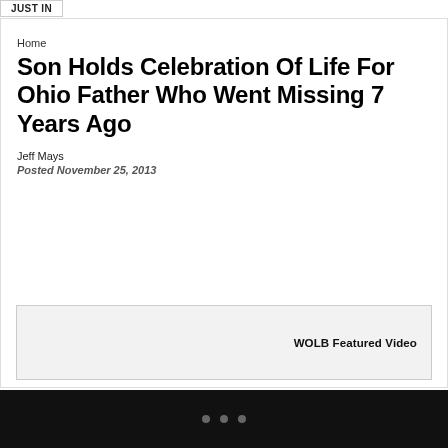JUST IN
Home
Son Holds Celebration Of Life For Ohio Father Who Went Missing 7 Years Ago
Jeff Mays
Posted November 25, 2013
[Figure (other): WOLB Featured Video placeholder box]
• • •